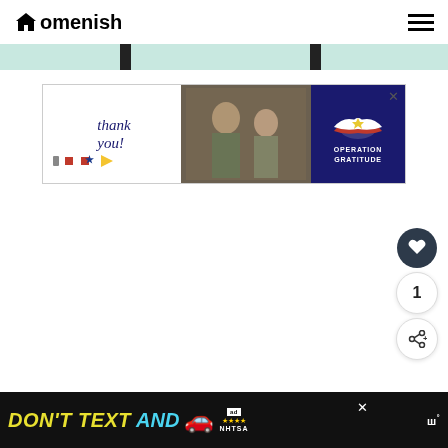Homenish
[Figure (screenshot): Horizontal slider/progress bar element with teal/mint background and two dark vertical handle markers]
[Figure (photo): Operation Gratitude advertisement banner showing 'Thank you!' text with pencil graphic, military personnel photo in center, and Operation Gratitude logo on dark blue right panel]
[Figure (infographic): NHTSA 'Don't Text and Drive' advertisement banner at bottom of page with yellow and cyan text, red car emoji, ad badge with stars, and Mobi logo on black background]
[Figure (other): Floating social buttons on right side: dark circular heart/like button, count showing '1', and share button with plus icon]